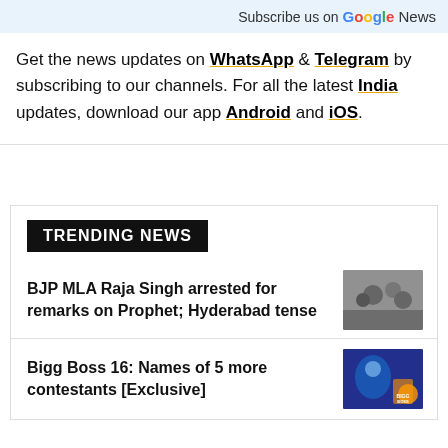Subscribe us on Google News
Get the news updates on WhatsApp & Telegram by subscribing to our channels. For all the latest India updates, download our app Android and iOS.
TRENDING NEWS
BJP MLA Raja Singh arrested for remarks on Prophet; Hyderabad tense
Bigg Boss 16: Names of 5 more contestants [Exclusive]